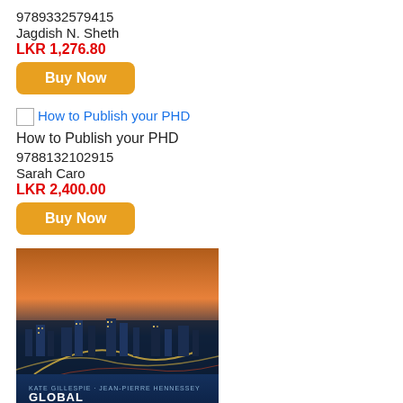9789332579415
Jagdish N. Sheth
LKR 1,276.80
[Figure (other): Buy Now button (orange/amber rounded rectangle)]
How to Publish your PHD
How to Publish your PHD
9788132102915
Sarah Caro
LKR 2,400.00
[Figure (other): Buy Now button (orange/amber rounded rectangle)]
[Figure (photo): Book cover for Global Marketing showing a city aerial view at dusk with highway lights and blue band at bottom with text GLOBAL MARKETING]
Global Marketing
9781138352223